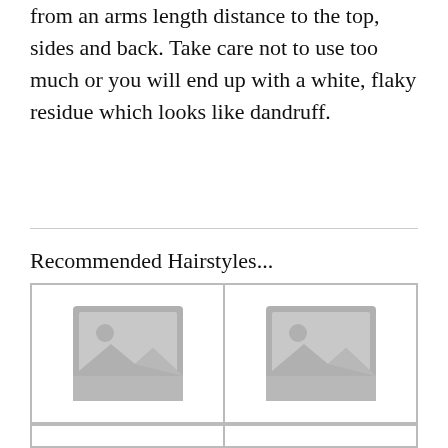from an arms length distance to the top, sides and back. Take care not to use too much or you will end up with a white, flaky residue which looks like dandruff.
Recommended Hairstyles...
[Figure (photo): Placeholder image thumbnail (image not loaded)]
[Figure (photo): Placeholder image thumbnail (image not loaded)]